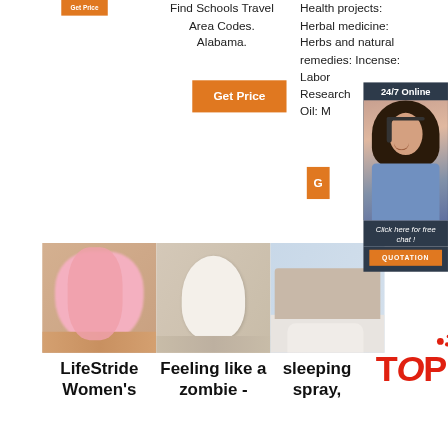[Figure (other): Orange 'Get Price' button at top left]
Find Schools Travel Area Codes. Alabama.
Health projects: Herbal medicine: Herbs and natural remedies: Incense: Labor Research Oil: M
[Figure (other): Orange 'Get Price' button in middle]
[Figure (other): Orange 'G' (Get Price) button partially visible]
[Figure (photo): 24/7 Online chat overlay with woman wearing headset. Dark navy background with text '24/7 Online', photo of smiling woman with headset, italic text 'Click here for free chat!', orange QUOTATION button.]
[Figure (photo): Pink fluffy faux fur rug on wooden floor]
[Figure (photo): White faux fur rug shaped like animal skin on wooden floor]
[Figure (photo): White fluffy rug near sofa in living room]
LifeStride Women's
Feeling like a zombie -
sleeping spray,
[Figure (logo): TOP logo in red with decorative dots]